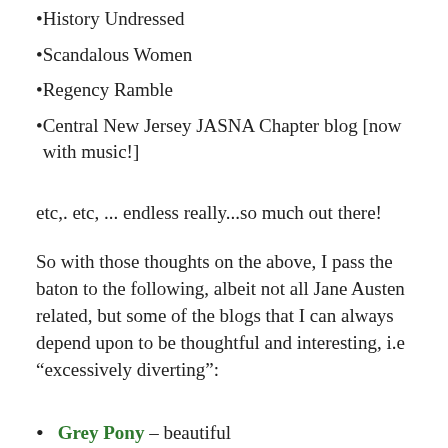History Undressed
Scandalous Women
Regency Ramble
Central New Jersey JASNA Chapter blog [now with music!]
etc,. etc, ... endless really...so much out there!
So with those thoughts on the above, I pass the baton to the following, albeit not all Jane Austen related, but some of the blogs that I can always depend upon to be thoughtful and interesting, i.e “excessively diverting”:
Grey Pony – beautiful